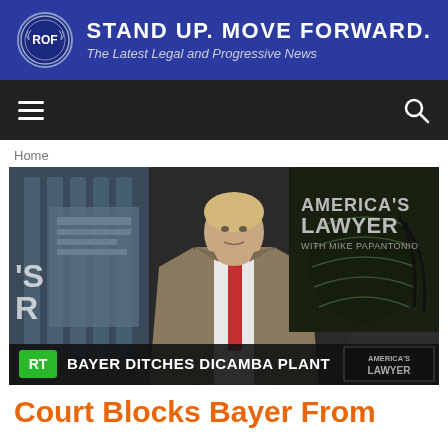[Figure (logo): ROF website banner: blue background with ROF circular logo on left, bold white text STAND UP. MOVE FORWARD. and italic subtitle The Latest Legal and Progressive News]
[Figure (screenshot): Navigation bar with hamburger menu icon on left and search icon on right, dark background]
Home
[Figure (photo): TV screenshot of America's Lawyer with Mike Papantonio show on RT network. A man in tan suit and red tie stands at desk in front of screens. Lower-third chyron reads: BAYER DITCHES DICAMBA PLANT. America's Lawyer logo visible top right and bottom right.]
Court Blocks Bayer From